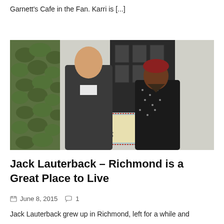Garnett's Cafe in the Fan. Karri is [...]
[Figure (photo): Two people standing in front of Garnett's Cafe: a man in a dark button-up shirt on the left and a woman in a black patterned dress on the right. The cafe sign is partially visible behind them. Ivy grows on a white wall in the background.]
Jack Lauterback – Richmond is a Great Place to Live
June 8, 2015   1
Jack Lauterback grew up in Richmond, left for a while and